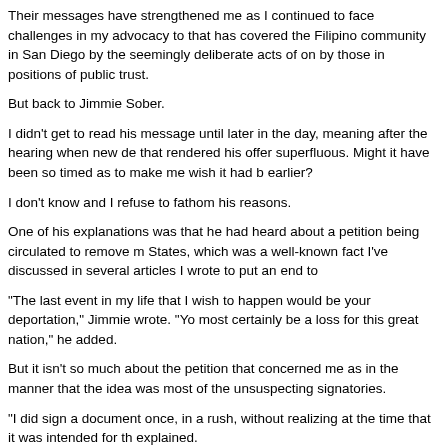Their messages have strengthened me as I continued to face challenges in my advocacy to that has covered the Filipino community in San Diego by the seemingly deliberate acts of o by those in positions of public trust.
But back to Jimmie Sober.
I didn't get to read his message until later in the day, meaning after the hearing when new de that rendered his offer superfluous. Might it have been so timed as to make me wish it had b earlier?
I don't know and I refuse to fathom his reasons.
One of his explanations was that he had heard about a petition being circulated to remove m States, which was a well-known fact I've discussed in several articles I wrote to put an end t
"The last event in my life that I wish to happen would be your deportation," Jimmie wrote. "Y most certainly be a loss for this great nation," he added.
But it isn't so much about the petition that concerned me as in the manner that the idea was most of the unsuspecting signatories.
"I did sign a document once, in a rush, without realizing at the time that it was intended for th explained.
"I regret and retract my signing of the document for the purpose of your deportation which I c
Jimmie appears to be full of remorse. I am so grateful that he had opened his eyes and min that with the scheming, supposedly God-fearing bible preacher named Aurora Cudal who m rest in hell!' for me. The poet Fred Burce Bunao quickly retorted: "Ladies first".
Evidently, Jimmie must have been sweet-talked into signing a piece of paper that was later a